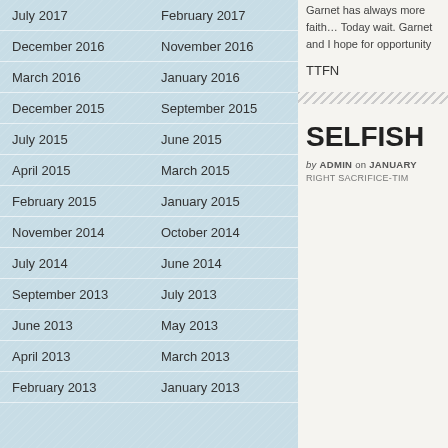July 2017
February 2017
December 2016
November 2016
March 2016
January 2016
December 2015
September 2015
July 2015
June 2015
April 2015
March 2015
February 2015
January 2015
November 2014
October 2014
July 2014
June 2014
September 2013
July 2013
June 2013
May 2013
April 2013
March 2013
February 2013
January 2013
Garnet has always more faith… Today wait. Garnet and I hope for opportunity
TTFN
SELFISH
by ADMIN on JANUARY
RIGHT SACRIFICE-TIM